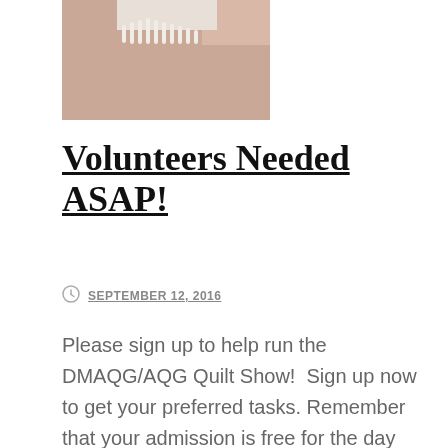[Figure (photo): Partial photo of a person wearing a white decorative collar or necklace, cropped at top of page]
Volunteers Needed ASAP!
SEPTEMBER 12, 2016
Please sign up to help run the DMAQG/AQG Quilt Show!  Sign up now to get your preferred tasks. Remember that your admission is free for the day you volunteer! You […]